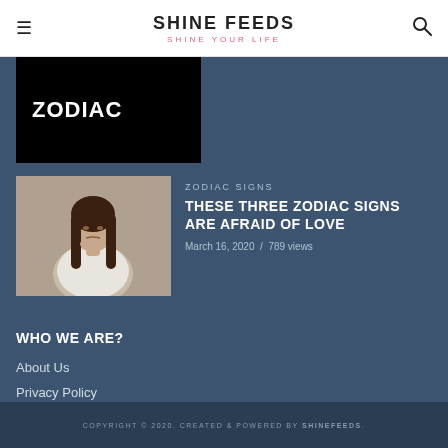SHINE FEEDS — SHINE YOUR LIFE
[Figure (photo): Black image block with white text ZODIAC]
ZODIAC SIGNS
[Figure (photo): Woman with hand near mouth looking anxious]
THESE THREE ZODIAC SIGNS ARE AFRAID OF LOVE
March 16, 2020 / 789 views
WHO WE ARE?
About Us
Privacy Policy
Terms and Conditions
COPYRIGHT © 2020. CREATED & POWERED BY SHINEFEEDS.